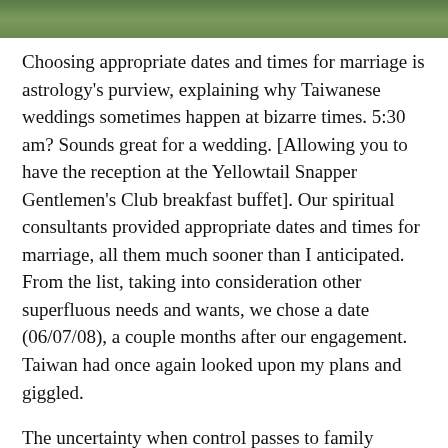[Figure (photo): Green foliage photo strip at top of page]
Choosing appropriate dates and times for marriage is astrology's purview, explaining why Taiwanese weddings sometimes happen at bizarre times. 5:30 am? Sounds great for a wedding. [Allowing you to have the reception at the Yellowtail Snapper Gentlemen's Club breakfast buffet]. Our spiritual consultants provided appropriate dates and times for marriage, all them much sooner than I anticipated. From the list, taking into consideration other superfluous needs and wants, we chose a date (06/07/08), a couple months after our engagement. Taiwan had once again looked upon my plans and giggled.
The uncertainty when control passes to family members, the community, and psychics explains why red bombs (wedding invitations) come so shortly before the wedding. People want to ensure they've navigated all obstacles and will actually marry. There's many a slip 'twixt dick and toilet. In Taiwan you